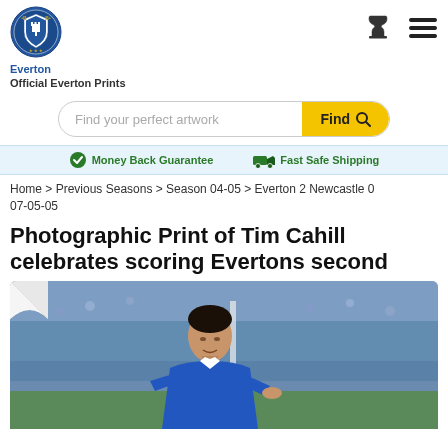[Figure (logo): Everton FC official crest/shield logo in blue and white with 'Everton' text below]
Official Everton Prints
[Figure (screenshot): Search bar with placeholder 'Find your perfect artwork' and yellow 'Find' button with magnifying glass icon]
Money Back Guarantee    Fast Safe Shipping
Home > Previous Seasons > Season 04-05 > Everton 2 Newcastle 0 07-05-05
Photographic Print of Tim Cahill celebrates scoring Evertons second
[Figure (photo): Photograph of Tim Cahill in Everton blue kit celebrating, pointing, with crowd in background]